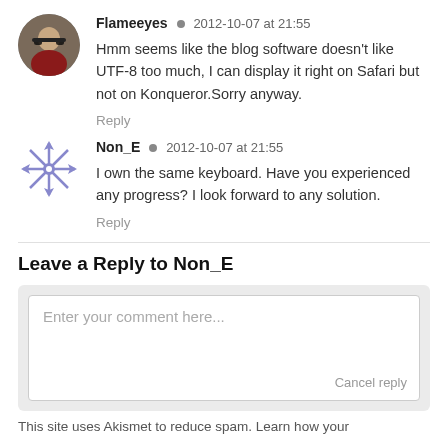Flameeyes • 2012-10-07 at 21:55
Hmm seems like the blog software doesn't like UTF-8 too much, I can display it right on Safari but not on Konqueror.Sorry anyway.
Reply
Non_E • 2012-10-07 at 21:55
I own the same keyboard. Have you experienced any progress? I look forward to any solution.
Reply
Leave a Reply to Non_E
Enter your comment here...
Cancel reply
This site uses Akismet to reduce spam. Learn how your